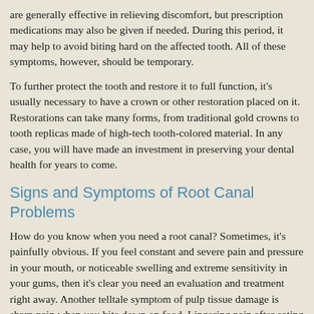are generally effective in relieving discomfort, but prescription medications may also be given if needed. During this period, it may help to avoid biting hard on the affected tooth. All of these symptoms, however, should be temporary.
To further protect the tooth and restore it to full function, it's usually necessary to have a crown or other restoration placed on it. Restorations can take many forms, from traditional gold crowns to tooth replicas made of high-tech tooth-colored material. In any case, you will have made an investment in preserving your dental health for years to come.
Signs and Symptoms of Root Canal Problems
How do you know when you need a root canal? Sometimes, it's painfully obvious. If you feel constant and severe pain and pressure in your mouth, or noticeable swelling and extreme sensitivity in your gums, then it's clear you need an evaluation and treatment right away. Another telltale symptom of pulp tissue damage is sharp pain when you bite down on food. Lingering pain after eating hot or cold foods is also an indication of potential trouble. If you notice any of these symptoms, you need to have an examination as soon as possible.